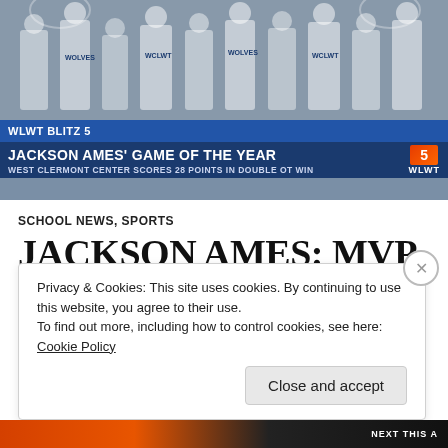[Figure (photo): Basketball team photo with players in Wolves uniforms, overlaid with WLWT news ticker showing 'JACKSON AMES GAME OF THE YEAR - WEST CLERMONT CENTER SCORES 28 POINTS IN DOUBLE OT WIN']
SCHOOL NEWS, SPORTS
JACKSON AMES: MVP
JANUARY 23, 2019  COURTNEYYSTEWART  LEAVE A COMMENT
On January 11th, 2018 the West Clermont Wolves boys basketball t
Privacy & Cookies: This site uses cookies. By continuing to use this website, you agree to their use.
To find out more, including how to control cookies, see here: Cookie Policy